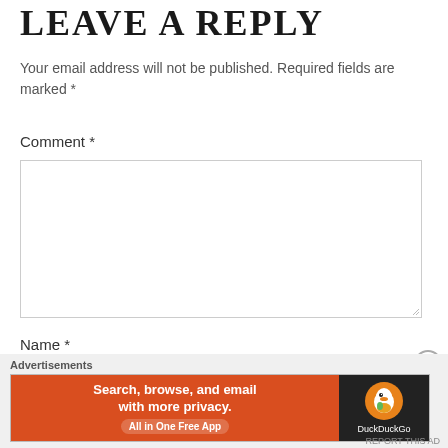LEAVE A REPLY
Your email address will not be published. Required fields are marked *
Comment *
Name *
[Figure (screenshot): DuckDuckGo advertisement banner: 'Search, browse, and email with more privacy. All in One Free App' with DuckDuckGo logo on dark background]